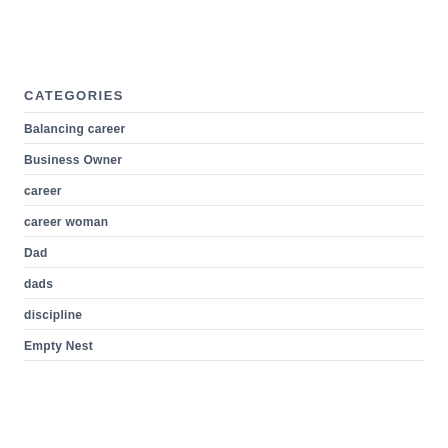CATEGORIES
Balancing career
Business Owner
career
career woman
Dad
dads
discipline
Empty Nest